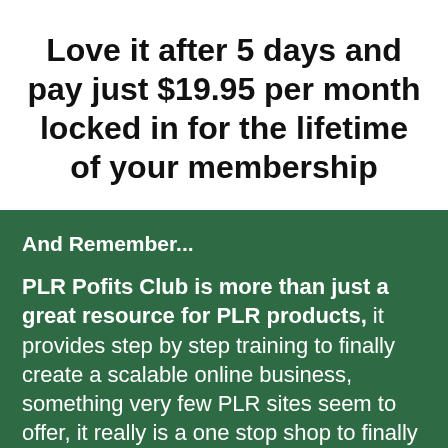Love it after 5 days and pay just $19.95 per month locked in for the lifetime of your membership
And Remember...
PLR Pofits Club is more than just a great resource for PLR products, it provides step by step training to finally create a scalable online business, something very few PLR sites seem to offer, it really is a one stop shop to finally becoming...